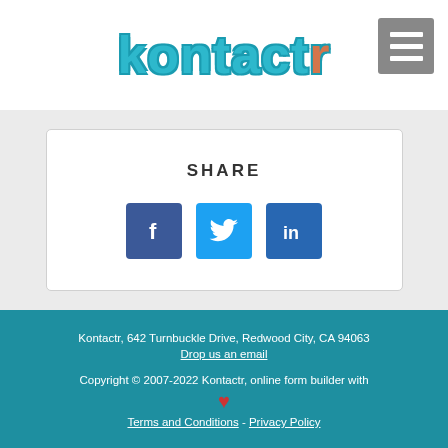kontactr
SHARE
[Figure (infographic): Social share buttons: Facebook (dark blue f), Twitter (light blue bird), LinkedIn (dark blue in)]
Kontactr, 642 Turnbuckle Drive, Redwood City, CA 94063
Drop us an email
Copyright © 2007-2022 Kontactr, online form builder with ♥
Terms and Conditions - Privacy Policy